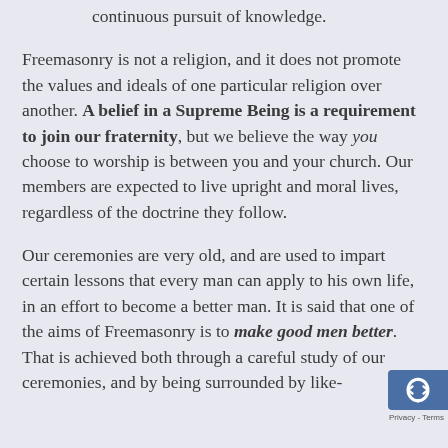continuous pursuit of knowledge.
Freemasonry is not a religion, and it does not promote the values and ideals of one particular religion over another. A belief in a Supreme Being is a requirement to join our fraternity, but we believe the way you choose to worship is between you and your church. Our members are expected to live upright and moral lives, regardless of the doctrine they follow.
Our ceremonies are very old, and are used to impart certain lessons that every man can apply to his own life, in an effort to become a better man. It is said that one of the aims of Freemasonry is to make good men better. That is achieved both through a careful study of our ceremonies, and by being surrounded by like-